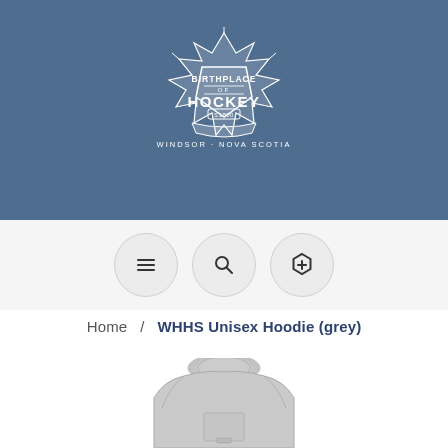[Figure (logo): Birthplace of Hockey crest logo with maple leaf design, shield, text 'BIRTHPLACE OF HOCKEY S1800 WINDSOR · NOVA SCOTIA' in white on steel blue background]
[Figure (infographic): Navigation bar with three circular icon buttons: hamburger menu, search magnifier, and hexagon plus icon]
Home  /  WHHS Unisex Hoodie (grey)
[Figure (photo): Grey unisex hoodie product image, partially visible at bottom of page]